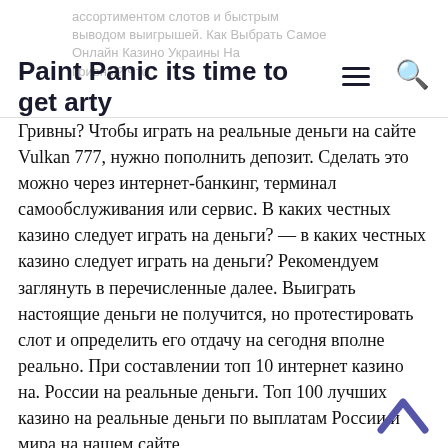Paint Panic its time to get arty
ассортиментом слотов и быстрым выводом выигрышей. Как Выбрать Самое Онлайн Казино Украины На Гривны? Чтобы играть на реальные деньги на сайте Vulkan 777, нужно пополнить депозит. Сделать это можно через интернет-банкинг, терминал самообслуживания или сервис. В каких честных казино следует играть на деньги? — в каких честных казино следует играть на деньги? Рекомендуем заглянуть в перечисленные далее. Выиграть настоящие деньги не получится, но протестировать слот и определить его отдачу на сегодня вполне реально. При составлении топ 10 интернет казино на. России на реальные деньги. Топ 100 лучших казино на реальные деньги по выплатам России и мира на нашем сайте